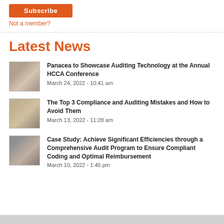Subscribe
Not a member?
Latest News
Panacea to Showcase Auditing Technology at the Annual HCCA Conference
March 24, 2022 - 10:41 am
The Top 3 Compliance and Auditing Mistakes and How to Avoid Them
March 13, 2022 - 11:28 am
Case Study: Achieve Significant Efficiencies through a Comprehensive Audit Program to Ensure Compliant Coding and Optimal Reimbursement
March 10, 2022 - 1:45 pm